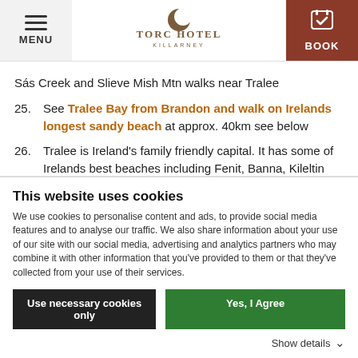MENU | Torc Hotel Killarney | BOOK
Sás Creek and Slieve Mish Mtn walks near Tralee
25. See Tralee Bay from Brandon and walk on Irelands longest sandy beach at approx. 40km see below
26. Tralee is Ireland's family friendly capital. It has some of Irelands best beaches including Fenit, Banna, Kileltin and Derrymore. Also go visit the Aquadome,
This website uses cookies
We use cookies to personalise content and ads, to provide social media features and to analyse our traffic. We also share information about your use of our site with our social media, advertising and analytics partners who may combine it with other information that you've provided to them or that they've collected from your use of their services.
Use necessary cookies only | Yes, I Agree
Show details